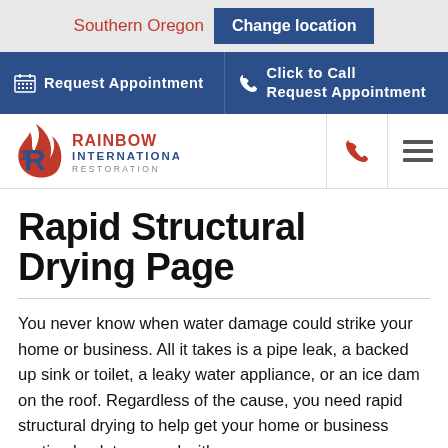Southern Oregon  Change location
Request Appointment   Click to Call Request Appointment
[Figure (logo): Rainbow International Restoration logo with red and blue flame/R icon and company name]
Rapid Structural Drying Page
You never know when water damage could strike your home or business. All it takes is a pipe leak, a backed up sink or toilet, a leaky water appliance, or an ice dam on the roof. Regardless of the cause, you need rapid structural drying to help get your home or business routine back to normal with